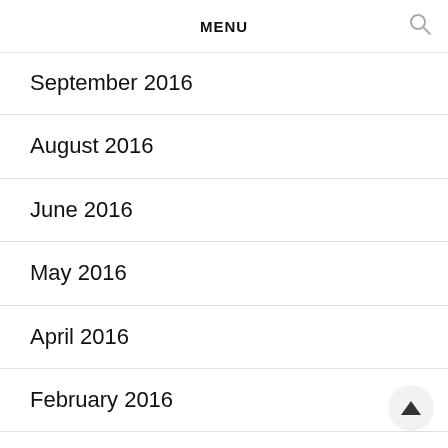MENU
September 2016
August 2016
June 2016
May 2016
April 2016
February 2016
December 2015
October 2015